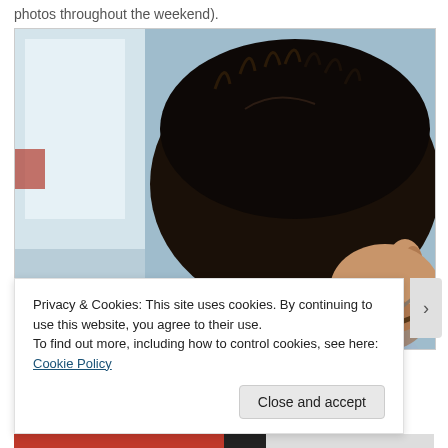photos throughout the weekend).
[Figure (photo): Side profile close-up of a young man with dark spiky hair wearing glasses, looking downward. Blurred light background suggesting an indoor setting.]
Privacy & Cookies: This site uses cookies. By continuing to use this website, you agree to their use.
To find out more, including how to control cookies, see here: Cookie Policy